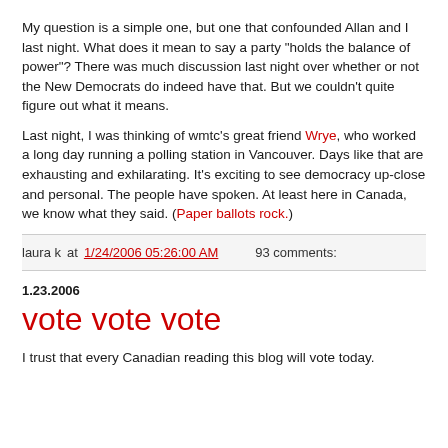My question is a simple one, but one that confounded Allan and I last night. What does it mean to say a party "holds the balance of power"? There was much discussion last night over whether or not the New Democrats do indeed have that. But we couldn't quite figure out what it means.

Last night, I was thinking of wmtc's great friend Wrye, who worked a long day running a polling station in Vancouver. Days like that are exhausting and exhilarating. It's exciting to see democracy up-close and personal. The people have spoken. At least here in Canada, we know what they said. (Paper ballots rock.)
laura k at 1/24/2006 05:26:00 AM    93 comments:
1.23.2006
vote vote vote
I trust that every Canadian reading this blog will vote today.